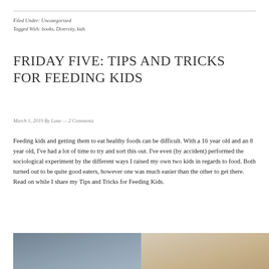Filed Under: Uncategorized
Tagged With: books, Diversity, kids
FRIDAY FIVE: TIPS AND TRICKS FOR FEEDING KIDS
March 1, 2019 By Lane — 2 Comments
Feeding kids and getting them to eat healthy foods can be difficult. With a 16 year old and an 8 year old, I've had a lot of time to try and sort this out. I've even (by accident) performed the sociological experiment by the different ways I raised my own two kids in regards to food. Both turned out to be quite good eaters, however one was much easier than the other to get there. Read on while I share my Tips and Tricks for Feeding Kids.
[Figure (photo): Photo of children at a table, partially visible at bottom of page]